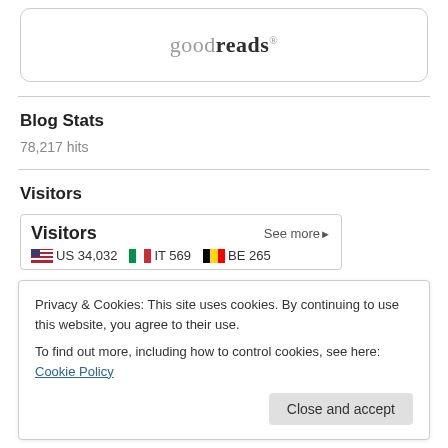[Figure (logo): Goodreads logo inside a rounded rectangle border]
Blog Stats
78,217 hits
Visitors
[Figure (infographic): Visitors widget showing US 34,032 | IT 569 | BE 265 with See more link]
Privacy & Cookies: This site uses cookies. By continuing to use this website, you agree to their use.
To find out more, including how to control cookies, see here: Cookie Policy
Close and accept